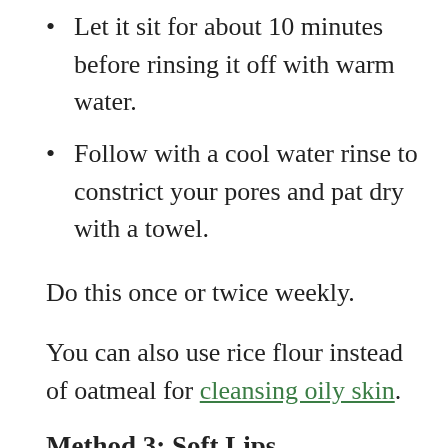Let it sit for about 10 minutes before rinsing it off with warm water.
Follow with a cool water rinse to constrict your pores and pat dry with a towel.
Do this once or twice weekly.
You can also use rice flour instead of oatmeal for cleansing oily skin.
Method 3: Soft Lips
Chapped lips are the most unwelcome